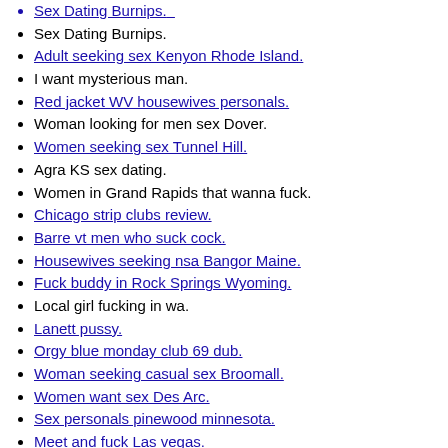Sex Dating Burnips.
Adult seeking sex Kenyon Rhode Island.
I want mysterious man.
Red jacket WV housewives personals.
Woman looking for men sex Dover.
Women seeking sex Tunnel Hill.
Agra KS sex dating.
Women in Grand Rapids that wanna fuck.
Chicago strip clubs review.
Barre vt men who suck cock.
Housewives seeking nsa Bangor Maine.
Fuck buddy in Rock Springs Wyoming.
Local girl fucking in wa.
Lanett pussy.
Orgy blue monday club 69 dub.
Woman seeking casual sex Broomall.
Women want sex Des Arc.
Sex personals pinewood minnesota.
Meet and fuck Las vegas.
Text horny women massage from obriens.
Free cybersex chat Czestochowa walking Czestochowa.
Local indiana girls wanting sex.
Ladies seeking sex Brighton Utah.
Housewives want real sex Landover hills Maryland